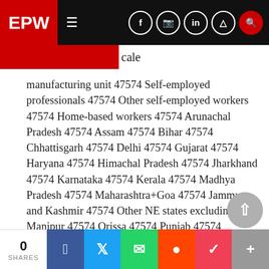EPW
cale
manufacturing unit 47574 Self-employed professionals 47574 Other self-employed workers 47574 Home-based workers 47574 Arunachal Pradesh 47574 Assam 47574 Bihar 47574 Chhattisgarh 47574 Delhi 47574 Gujarat 47574 Haryana 47574 Himachal Pradesh 47574 Jharkhand 47574 Karnataka 47574 Kerala 47574 Madhya Pradesh 47574 Maharashtra+Goa 47574 Jammu and Kashmir 47574 Other NE states excluding Manipur 47574 Orissa 47574 Punjab 47574 Rajasthan 47574 Sikkim 47574 Tamil Nadu 47574 Tripura 47574 Uttar Pradesh 47574